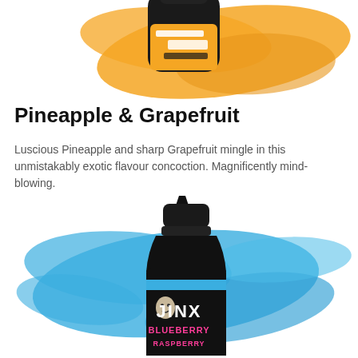[Figure (photo): Top portion of an orange Jinx e-liquid bottle with orange paint splash background, partially cropped at top of page]
Pineapple & Grapefruit
Luscious Pineapple and sharp Grapefruit mingle in this unmistakably exotic flavour concoction. Magnificently mind-blowing.
[Figure (photo): Jinx e-liquid bottle with blue paint splash background. Bottle has a black cap, blue label with white and pink text reading JINX BLUEBERRY. A voodoo doll mascot character is visible on the label.]